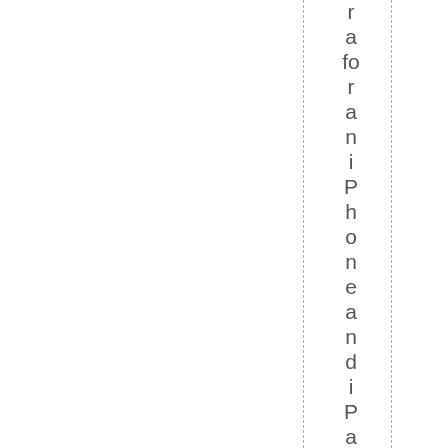r a fo r a n i P h o n e a n d i P a d. ... a n d th e